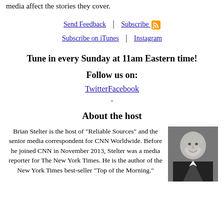media affect the stories they cover.
Send Feedback | Subscribe
Subscribe on iTunes | Instagram
Tune in every Sunday at 11am Eastern time!
Follow us on:
TwitterFacebook
.
About the host
Brian Stelter is the host of "Reliable Sources" and the senior media correspondent for CNN Worldwide. Before he joined CNN in November 2013, Stelter was a media reporter for The New York Times. He is the author of the New York Times best-seller "Top of the Morning."
[Figure (photo): Black and white headshot photo of Brian Stelter, smiling, wearing a dark suit jacket]